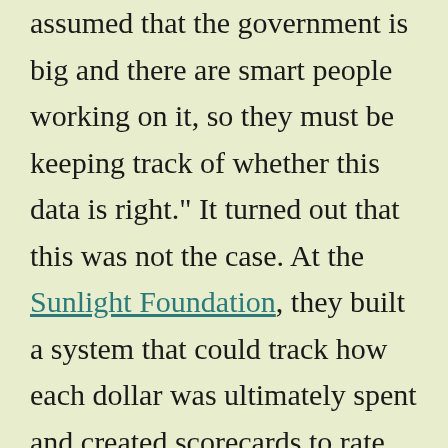assumed that the government is big and there are smart people working on it, so they must be keeping track of whether this data is right." It turned out that this was not the case. At the Sunlight Foundation, they built a system that could track how each dollar was ultimately spent and created scorecards to rate the quality of data being published by each agency. Nobody wants to be known as the worst at something, and these scorecards were successful at pushing the agencies to improve their public data. In their talk, they also emphasized how accessible